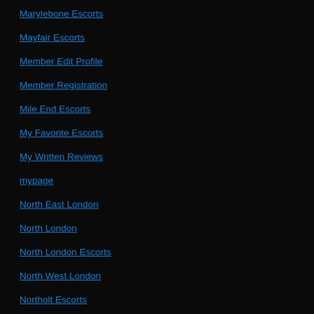Marylebone Escorts
Mayfair Escorts
Member Edit Profile
Member Registration
Mile End Escorts
My Favorite Escorts
My Written Reviews
mypage
North East London
North London
North London Escorts
North West London
Northolt Escorts
Norwood Hill Escorts
Notting Hill Escorts
Orpington Escorts
Other Counties